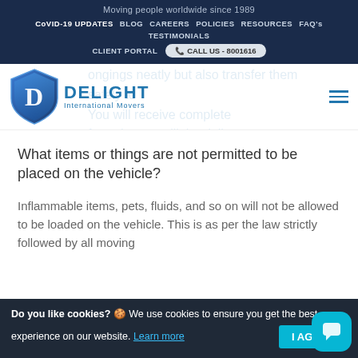Moving people worldwide since 1989
CoVID-19 UPDATES | BLOG | CAREERS | POLICIES | RESOURCES | FAQ's | TESTIMONIALS | CLIENT PORTAL | CALL US - 8001616
[Figure (logo): Delight International Movers logo with blue shield and D letter]
belongings neatly but also transfer them safely to ... You will receive complete ... from the start till the delivery.
What items or things are not permitted to be placed on the vehicle?
Inflammable items, pets, fluids, and so on will not be allowed to be loaded on the vehicle. This is as per the law strictly followed by all moving...
Do you like cookies? 🍪 We use cookies to ensure you get the best experience on our website. Learn more
I AGREE